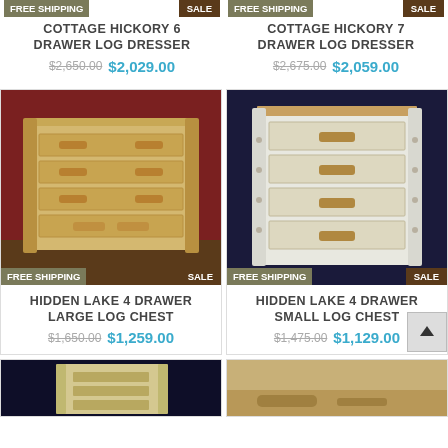[Figure (other): Top row left product: FREE SHIPPING and SALE badges, no product image shown]
COTTAGE HICKORY 6 DRAWER LOG DRESSER
$2,650.00  $2,029.00
[Figure (other): Top row right product: FREE SHIPPING and SALE badges, no product image shown]
COTTAGE HICKORY 7 DRAWER LOG DRESSER
$2,675.00  $2,059.00
[Figure (photo): Photo of Hidden Lake 4 Drawer Large Log Chest, light wood dresser with 4 drawers on dark red background, FREE SHIPPING and SALE badges]
HIDDEN LAKE 4 DRAWER LARGE LOG CHEST
$1,650.00  $1,259.00
[Figure (photo): Photo of Hidden Lake 4 Drawer Small Log Chest, white/light wood dresser with 4 drawers on dark background, FREE SHIPPING and SALE badges]
HIDDEN LAKE 4 DRAWER SMALL LOG CHEST
$1,475.00  $1,129.00
[Figure (photo): Partial photo bottom left: dark blue background with light wood dresser]
[Figure (photo): Partial photo bottom right: tan/brown wood surface]